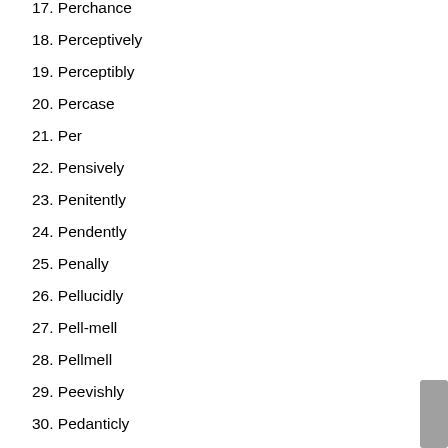17. Perchance
18. Perceptively
19. Perceptibly
20. Percase
21. Per
22. Pensively
23. Penitently
24. Pendently
25. Penally
26. Pellucidly
27. Pell-mell
28. Pellmell
29. Peevishly
30. Pedanticly
31. Peculiarly
32. Pectorally
33. Peccantly